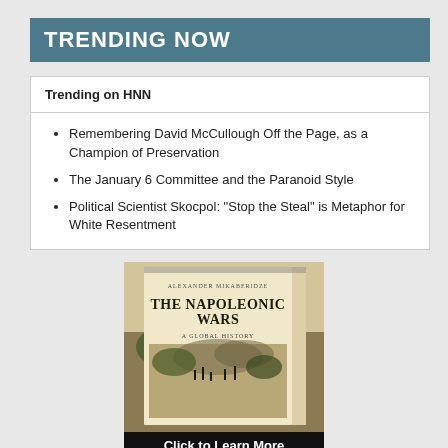TRENDING NOW
Trending on HNN
Remembering David McCullough Off the Page, as a Champion of Preservation
The January 6 Committee and the Paranoid Style
Political Scientist Skocpol: "Stop the Steal" is Metaphor for White Resentment
[Figure (illustration): Book cover for 'The Napoleonic Wars: A Global History' with a 'Click to Learn More' button below]
Click to Learn More